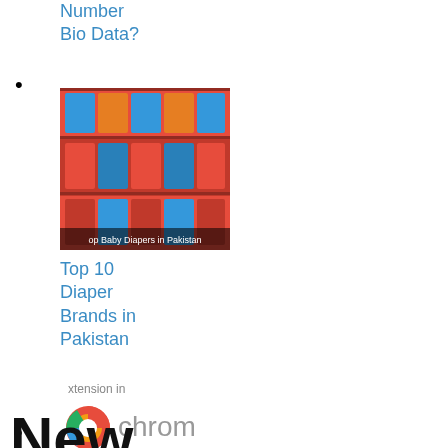Number Bio Data?
[Figure (photo): Thumbnail image of baby diapers on store shelves in Pakistan]
Top 10 Diaper Brands in Pakistan
[Figure (logo): Partial Chrome browser logo with text 'xtension in chrom']
How to Add IDM Extension in Chrome | Complete Guide
New